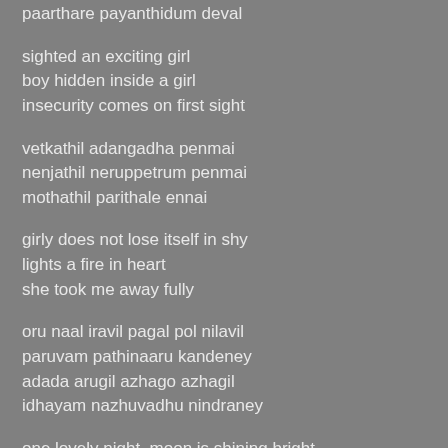paarthare payanthidum deval
sighted an exciting girl
boy hidden inside a girl
insecurity comes on first sight
vetkathil adangadha penmai
nenjathil neruppetrum penmai
mothathil parithale ennai
girly does not lose itself in shy
lights a fire in heart
she took me away fully
oru naal iravil pagal pol nilavil
paruvam pathinaaru kandeney
adada arugil azhago azhagil
idhayam nazhuvadhu nindraney
one lovely night, moon is shining bright
i sighted a sweet sixteen
when the beauty is so near to me
my heart is slipping away